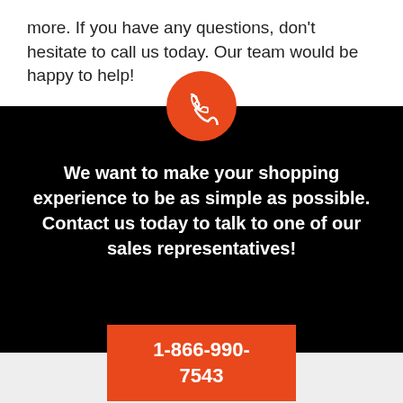more. If you have any questions, don't hesitate to call us today. Our team would be happy to help!
[Figure (illustration): Orange circle with white phone handset icon]
We want to make your shopping experience to be as simple as possible. Contact us today to talk to one of our sales representatives!
1-866-990-7543